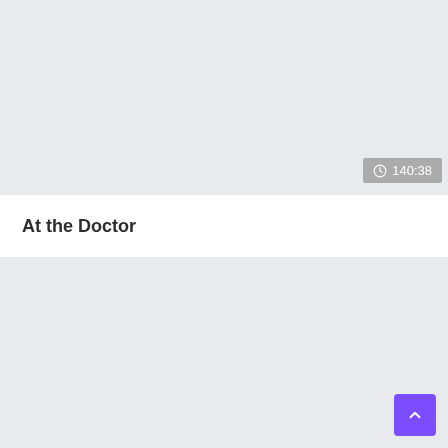[Figure (screenshot): Gray background top section of a web page or app interface showing an e-learning video player area with a timer badge showing 140:38]
At the Doctor
[Figure (screenshot): Gray background bottom section with a purple scroll-to-top button in the bottom right corner showing an upward chevron arrow]